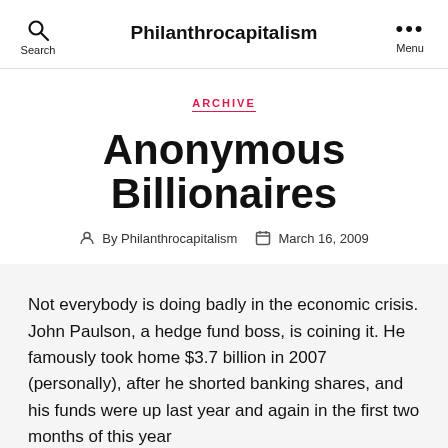Philanthrocapitalism
ARCHIVE
Anonymous Billionaires
By Philanthrocapitalism   March 16, 2009
Not everybody is doing badly in the economic crisis. John Paulson, a hedge fund boss, is coining it. He famously took home $3.7 billion in 2007 (personally), after he shorted banking shares, and his funds were up last year and again in the first two months of this year